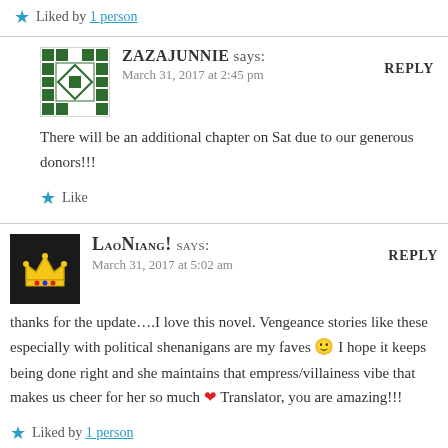Liked by 1 person
ZAZAJUNNIE says: March 31, 2017 at 2:45 pm
There will be an additional chapter on Sat due to our generous donors!!!
Like
LaoNiang! says: March 31, 2017 at 5:02 am
thanks for the update….I love this novel. Vengeance stories like these especially with political shenanigans are my faves 🙂 I hope it keeps being done right and she maintains that empress/villainess vibe that makes us cheer for her so much ❤ Translator, you are amazing!!!
Liked by 1 person
ZAZAJUNNIE says: March 31, 2017 at 2:49 pm